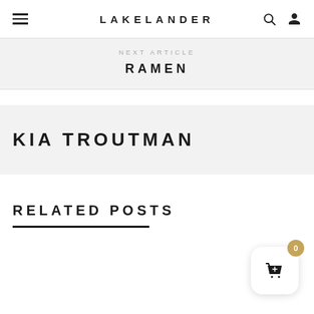LAKELANDER
NEXT ARTICLE
RAMEN
KIA TROUTMAN
RELATED POSTS